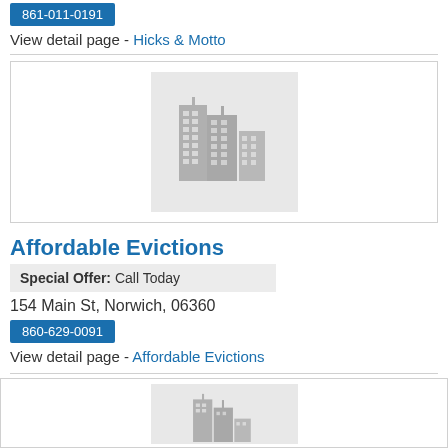861-011-0191 (button)
View detail page - Hicks & Motto
[Figure (illustration): Gray building/skyscraper icon placeholder image on light gray background]
Affordable Evictions
Special Offer: Call Today
154 Main St, Norwich, 06360
860-629-0091 (button)
View detail page - Affordable Evictions
[Figure (illustration): Gray building/skyscraper icon placeholder image on light gray background (partial, bottom of page)]